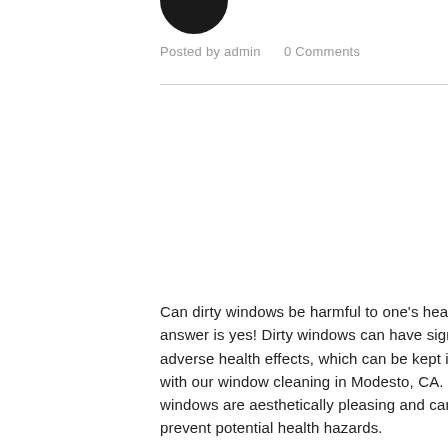[Figure (illustration): Circular avatar icon, dark/black colored, partially cropped at top of page]
Posted by admin    0 Comments
Can dirty windows be harmful to one's health? The answer is yes! Dirty windows can have significant adverse health effects, which can be kept in check with our window cleaning in Modesto, CA. Clean windows are aesthetically pleasing and can also prevent potential health hazards.